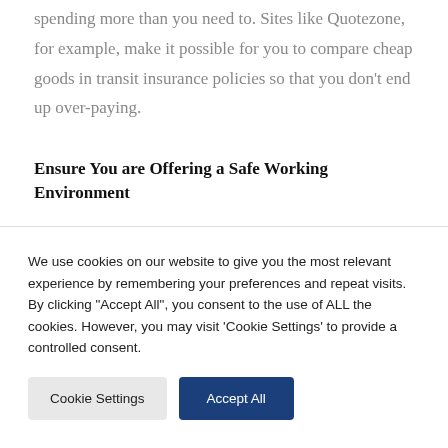spending more than you need to. Sites like Quotezone, for example, make it possible for you to compare cheap goods in transit insurance policies so that you don't end up over-paying.
Ensure You are Offering a Safe Working Environment
If your business has remained open throughout the
We use cookies on our website to give you the most relevant experience by remembering your preferences and repeat visits. By clicking "Accept All", you consent to the use of ALL the cookies. However, you may visit 'Cookie Settings' to provide a controlled consent.